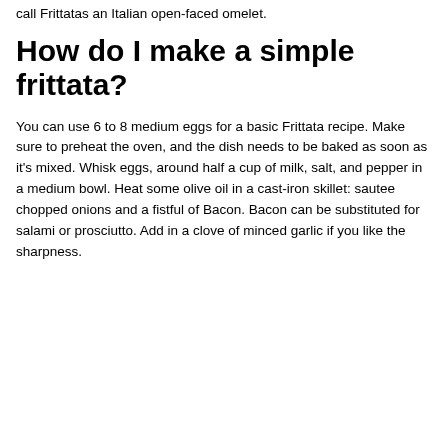call Frittatas an Italian open-faced omelet.
How do I make a simple frittata?
You can use 6 to 8 medium eggs for a basic Frittata recipe. Make sure to preheat the oven, and the dish needs to be baked as soon as it's mixed. Whisk eggs, around half a cup of milk, salt, and pepper in a medium bowl. Heat some olive oil in a cast-iron skillet: sautee chopped onions and a fistful of Bacon. Bacon can be substituted for salami or prosciutto. Add in a clove of minced garlic if you like the sharpness.